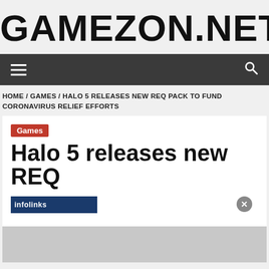GAMEZON.NET
[Figure (screenshot): Navigation bar with hamburger menu icon on left and search icon on right, dark gray background]
HOME / GAMES / HALO 5 RELEASES NEW REQ PACK TO FUND CORONAVIRUS RELIEF EFFORTS
Games
Halo 5 releases new REQ
[Figure (screenshot): Infolinks advertisement bar overlay at the bottom of the article card, with a close (x) button on the right]